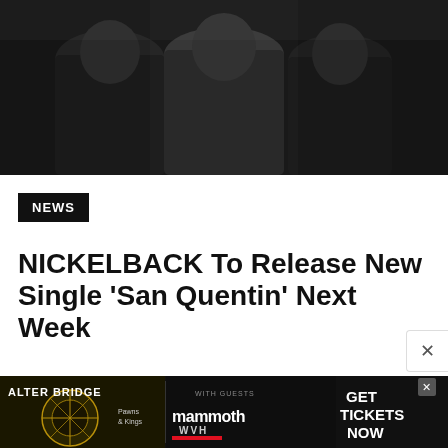[Figure (photo): Black and white photo of a band (Nickelback) posing together, three people visible against a dark background]
NEWS
NICKELBACK To Release New Single 'San Quentin' Next Week
This website uses cookies and other tracking technologies to enhance user experience and to analyze performance and traffic on our website. Information about your use of our site may also be shared with social media, advertising, retail and analytics providers and partners.  Privacy Policy
[Figure (advertisement): Alter Bridge Pawns & Kings concert advertisement with Mammoth WVH as guest, promoting ticket sales]